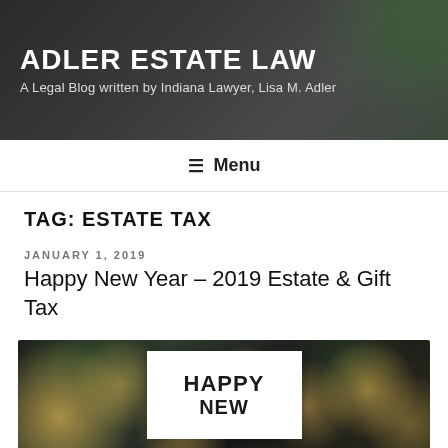ADLER ESTATE LAW
A Legal Blog written by Indiana Lawyer, Lisa M. Adler
≡ Menu
TAG: ESTATE TAX
JANUARY 1, 2019
Happy New Year – 2019 Estate & Gift Tax
[Figure (photo): New Year card reading 'HAPPY NEW' with bokeh lights in background]